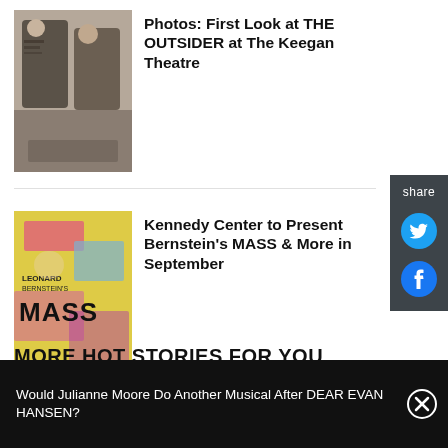[Figure (photo): Two men in suits sitting and talking]
Photos: First Look at THE OUTSIDER at The Keegan Theatre
[Figure (photo): Leonard Bernstein's MASS colorful poster/artwork]
Kennedy Center to Present Bernstein's MASS & More in September
[Figure (photo): Abstract colorful image - The Color]
Review: THE COLOR
MORE HOT STORIES FOR YOU
Would Julianne Moore Do Another Musical After DEAR EVAN HANSEN?